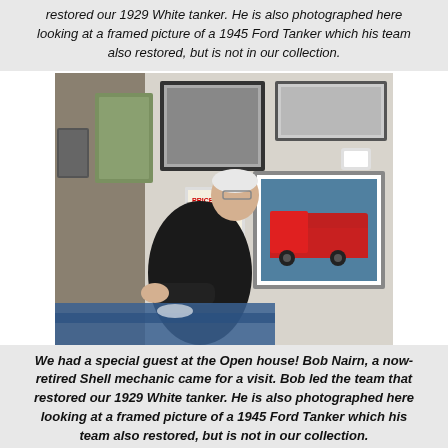restored our 1929 White tanker. He is also photographed here looking at a framed picture of a 1945 Ford Tanker which his team also restored, but is not in our collection.
[Figure (photo): Elderly man in black jacket leaning over a table looking at framed pictures on a wall, including a framed color photo of a red tanker truck]
We had a special guest at the Open house! Bob Nairn, a now-retired Shell mechanic came for a visit. Bob led the team that restored our 1929 White tanker. He is also photographed here looking at a framed picture of a 1945 Ford Tanker which his team also restored, but is not in our collection.
[Figure (photo): Partial view of a rooftop or vehicle exterior, with a small grey thumbnail beside it]